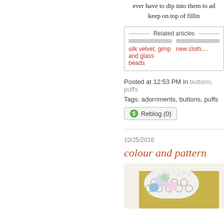ever have to dip into them to ad... keep on top of fillin...
Related articles
silk velvet, gimp and glass beads
new cloth....
Posted at 12:53 PM in buttons, puffs
Tags: adornments, buttons, puffs
Reblog (0)
10/25/2016
colour and pattern
[Figure (photo): Photo of colourful fabric/buttons arranged on white background, showing pastel colours and a honeycomb pattern]